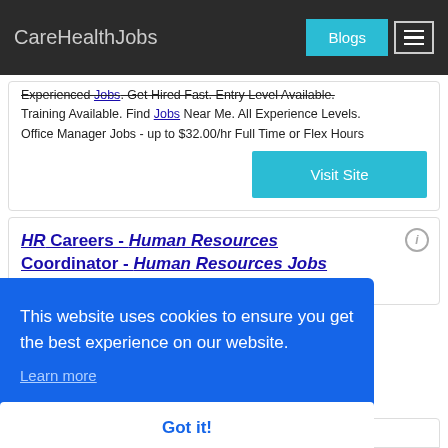CareHealthJobs
Experienced Jobs. Get Hired Fast. Entry Level Available. Training Available. Find Jobs Near Me. All Experience Levels.
Office Manager Jobs - up to $32.00/hr Full Time or Flex Hours
Visit Site
HR Careers - Human Resources Coordinator - Human Resources Jobs
Ad  https://symhotic.wd1.myworkdayjobs.com/
This website uses cookies to ensure you get the best experience on our website.
Learn more
Got it!